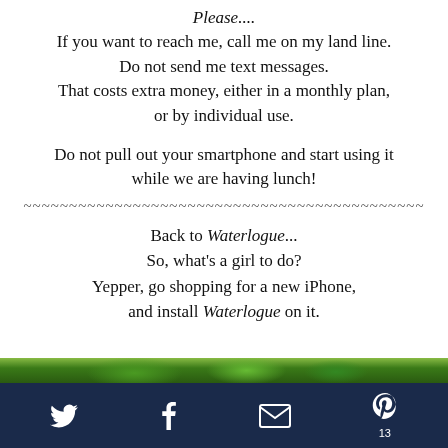Please....
If you want to reach me, call me on my land line.
Do not send me text messages.
That costs extra money, either in a monthly plan,
or by individual use.
Do not pull out your smartphone and start using it
while we are having lunch!
~~~~~~~~~~~~~~~~~~~~~~~~~~~~~~~~~~~~~~~~~~~~
Back to Waterlogue...
So, what's a girl to do?
Yepper, go shopping for a new iPhone,
and install Waterlogue on it.
[Figure (photo): Partial image of green leafy content, cropped at bottom of page]
Twitter, Facebook, Email, Pinterest icons. Page 13